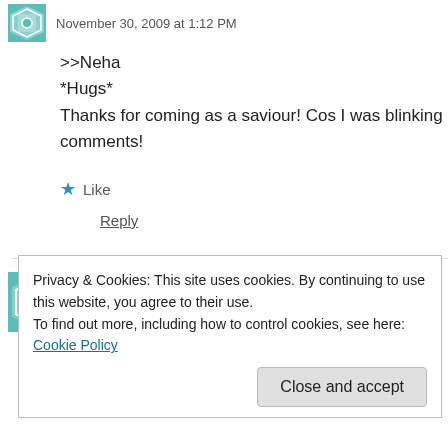November 30, 2009 at 1:12 PM
>>Neha
*Hugs*
Thanks for coming as a saviour! Cos I was blinking comments!
Like
Reply
Shruti says:
November 30, 2009 at 1:19 PM
Privacy & Cookies: This site uses cookies. By continuing to use this website, you agree to their use.
To find out more, including how to control cookies, see here: Cookie Policy